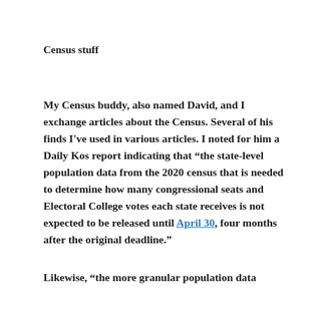Census stuff
My Census buddy, also named David, and I exchange articles about the Census. Several of his finds I've used in various articles. I noted for him a Daily Kos report indicating that “the state-level population data from the 2020 census that is needed to determine how many congressional seats and Electoral College votes each state receives is not expected to be released until April 30, four months after the original deadline.”
Likewise, “the more granular population data